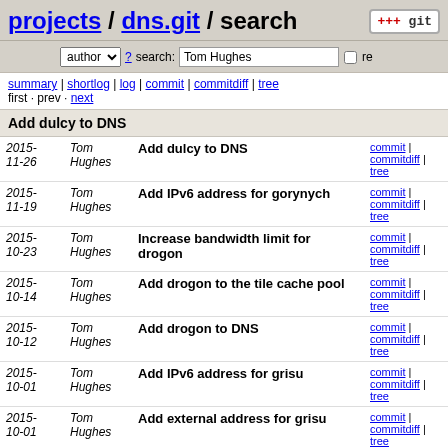projects / dns.git / search
author ? search: Tom Hughes re
summary | shortlog | log | commit | commitdiff | tree
first · prev · next
Add dulcy to DNS
| Date | Author | Message | Links |
| --- | --- | --- | --- |
| 2015-11-26 | Tom Hughes | Add dulcy to DNS | commit | commitdiff | tree |
| 2015-11-19 | Tom Hughes | Add IPv6 address for gorynych | commit | commitdiff | tree |
| 2015-10-23 | Tom Hughes | Increase bandwidth limit for drogon | commit | commitdiff | tree |
| 2015-10-14 | Tom Hughes | Add drogon to the tile cache pool | commit | commitdiff | tree |
| 2015-10-12 | Tom Hughes | Add drogon to DNS | commit | commitdiff | tree |
| 2015-10-01 | Tom Hughes | Add IPv6 address for grisu | commit | commitdiff | tree |
| 2015-10-01 | Tom Hughes | Add external address for grisu | commit | commitdiff | tree |
| 2015-10-01 | Tom Hughes | Replace smaug with grisu | commit | commitdiff | tree |
| 2015- | Tom | Add logstash.osm.org | commit | commitdiff | |